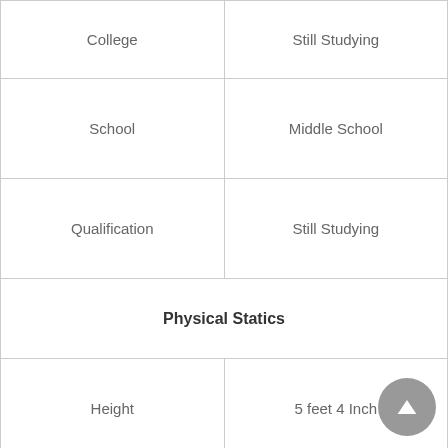|  |  |
| --- | --- |
| College | Still Studying |
| School | Middle School |
| Qualification | Still Studying |
| Physical Statics |  |
| Height | 5 feet 4 Inch |
| Weight | 53 KG |
| Eye Color | Dark Brown |